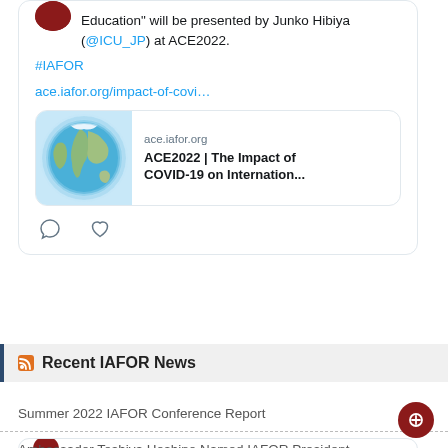Education" will be presented by Junko Hibiya (@ICU_JP) at ACE2022.

#IAFOR

ace.iafor.org/impact-of-covi…
[Figure (screenshot): Link preview card showing globe image, domain 'ace.iafor.org', title 'ACE2022 | The Impact of COVID-19 on Internation...']
Recent IAFOR News
Summer 2022 IAFOR Conference Report
Ambassador Toshiya Hoshino Named IAFOR President